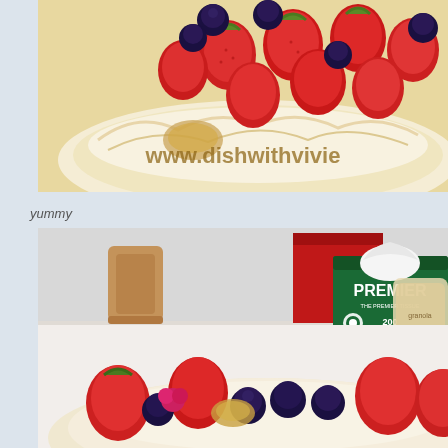[Figure (photo): Close-up photo of a pavlova or meringue topped with fresh strawberries and blueberries on parchment paper, with watermark text 'www.dishwithvivie' overlaid]
yummy
[Figure (photo): Photo of a table with a PREMIER tissue box (200 tissues, green and white), a wooden chair, and in the foreground a pavlova/meringue topped with strawberries, blueberries, and raspberries]